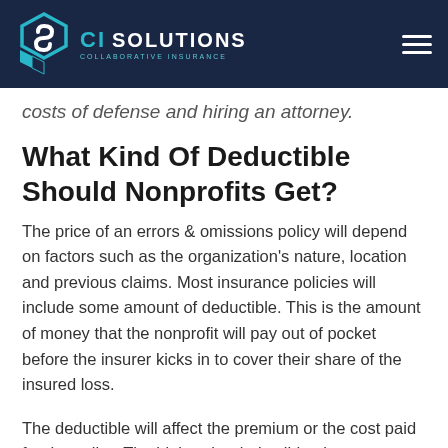CI SOLUTIONS COLLABORATIVE INSURANCE
costs of defense and hiring an attorney.
What Kind Of Deductible Should Nonprofits Get?
The price of an errors & omissions policy will depend on factors such as the organization's nature, location and previous claims. Most insurance policies will include some amount of deductible. This is the amount of money that the nonprofit will pay out of pocket before the insurer kicks in to cover their share of the insured loss.
The deductible will affect the premium or the cost paid for the policy. The higher the deductible, the